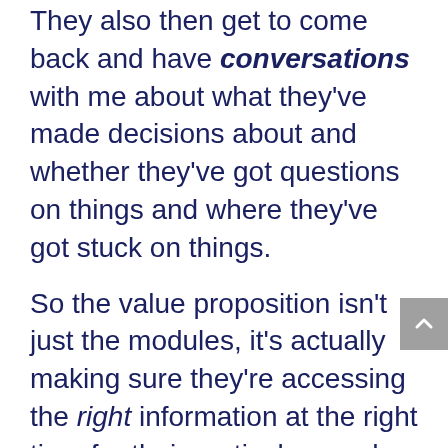They also then get to come back and have conversations with me about what they've made decisions about and whether they've got questions on things and where they've got stuck on things.
So the value proposition isn't just the modules, it's actually making sure they're accessing the right information at the right time for their particular needs.
Process Driven Membership
The other style of membership is a process driven membership, in which people come in to learn a specific